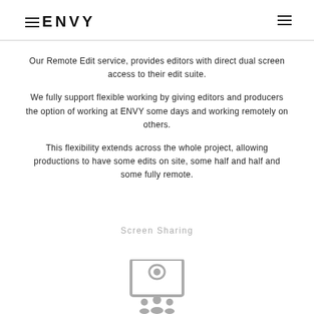ENVY
Our Remote Edit service, provides editors with direct dual screen access to their edit suite.
We fully support flexible working by giving editors and producers the option of working at ENVY some days and working remotely on others.
This flexibility extends across the whole project, allowing productions to have some edits on site, some half and half and some fully remote.
Screen Sharing
[Figure (illustration): Screen sharing icon showing a monitor with an eye symbol above a group of people silhouettes]